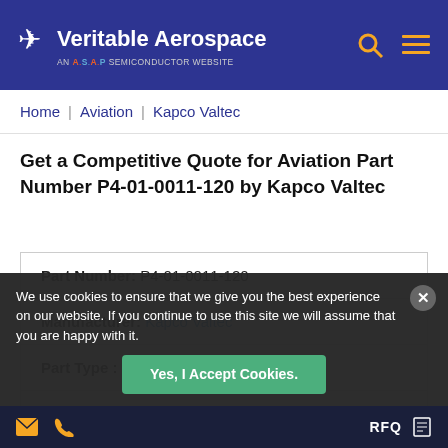Veritable Aerospace — AN A.S.A.P SEMICONDUCTOR WEBSITE
Home / Aviation / Kapco Valtec
Get a Competitive Quote for Aviation Part Number P4-01-0011-120 by Kapco Valtec
| Field | Value |
| --- | --- |
| Part Number: | P4-01-0011-120 |
| Manufacturer: | Kapco Valtec |
| Part Type : | Batt.,Slide |
| Alternate P/N : | P4010011120 |
We use cookies to ensure that we give you the best experience on our website. If you continue to use this site we will assume that you are happy with it.
Yes, I Accept Cookies.
RFQ